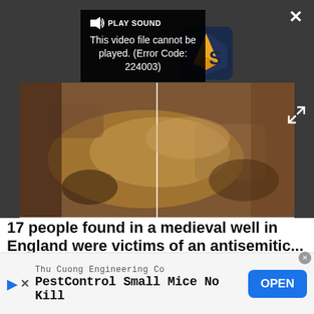[Figure (screenshot): Video player showing error popup 'This video file cannot be played. (Error Code: 224003)' with play sound button and LS logo. Background shows fossil/bone image. Close and expand buttons visible.]
17 people found in a medieval well in England were victims of an antisemitic...
The remains of 17 people, mainly children, found in 2004 during a construction project in an English city are ...
[Figure (screenshot): Advertisement bar: Thu Cuong Engineering Co, PestControl Small Mice No Kill, with OPEN button in blue.]